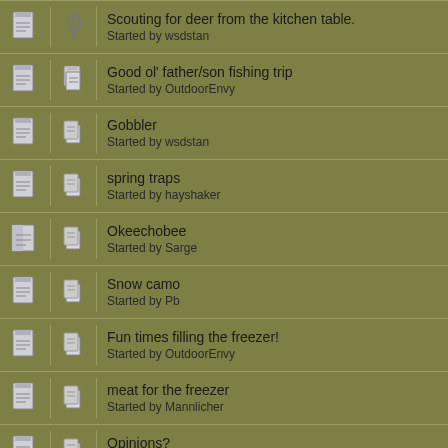Scouting for deer from the kitchen table.
Started by wsdstan
Good ol' father/son fishing trip
Started by OutdoorEnvy
Gobbler
Started by wsdstan
spring traps
Started by hayshaker
Okeechobee
Started by Sarge
Snow camo
Started by Pb
Fun times filling the freezer!
Started by OutdoorEnvy
meat for the freezer
Started by Mannlicher
Opinions?
Started by madmax
WILD HOGS......(NOT THE MOVIE)
Started by wolfy